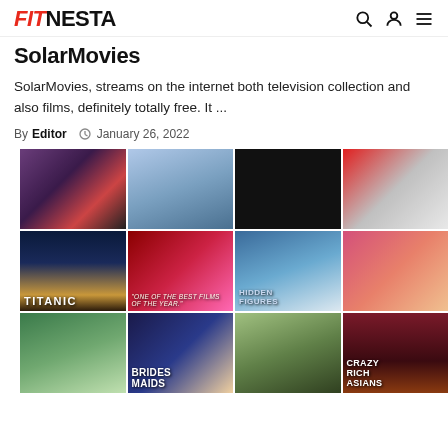FITNESTA
SolarMovies
SolarMovies, streams on the internet both television collection and also films, definitely totally free. It ...
By Editor  January 26, 2022
[Figure (photo): Grid of movie posters including Titanic, Bridesmaids, Hidden Figures, Crazy Rich Asians, and others]